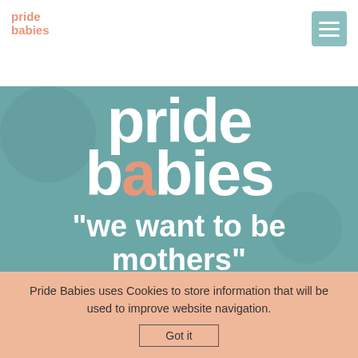pride babies
[Figure (screenshot): Pride Babies website hero section with teal/muted green overlay background showing large white bold text 'pride babies' and quote 'we want to be mothers']
Pride Babies uses Cookies to store information that will be used to improve website navigation.
Got it